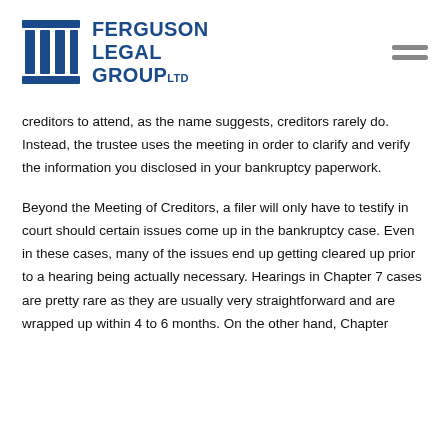Ferguson Legal Group Ltd
creditors to attend, as the name suggests, creditors rarely do. Instead, the trustee uses the meeting in order to clarify and verify the information you disclosed in your bankruptcy paperwork.
Beyond the Meeting of Creditors, a filer will only have to testify in court should certain issues come up in the bankruptcy case. Even in these cases, many of the issues end up getting cleared up prior to a hearing being actually necessary. Hearings in Chapter 7 cases are pretty rare as they are usually very straightforward and are wrapped up within 4 to 6 months. On the other hand, Chapter